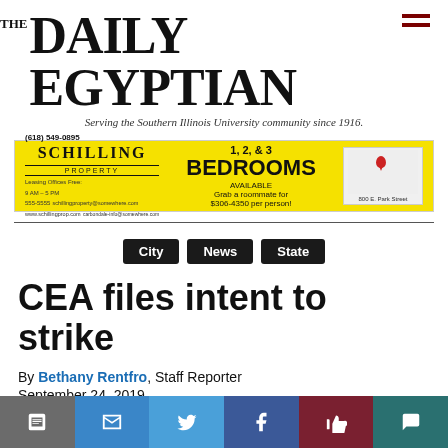THE DAILY EGYPTIAN — Serving the Southern Illinois University community since 1916.
[Figure (other): Advertisement for Schilling Property: 1, 2, & 3 Bedrooms Available, (618) 549-0895, 800 E. Park Street]
City  News  State
CEA files intent to strike
By Bethany Rentfro, Staff Reporter
September 24, 2019